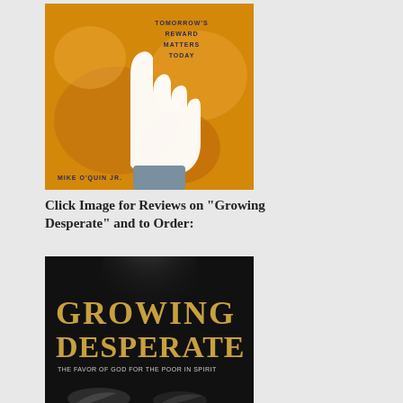[Figure (photo): Book cover of a book by Mike O'Quin Jr. featuring a white hand raised against an orange/golden background with text 'TOMORROW'S REWARD MATTERS TODAY' and author name 'MIKE O'QUIN JR.']
Click Image for Reviews on “Growing Desperate” and to Order:
[Figure (photo): Book cover of 'Growing Desperate: The Favor of God for the Poor in Spirit' showing large gold text on dark/black background with hands reaching]